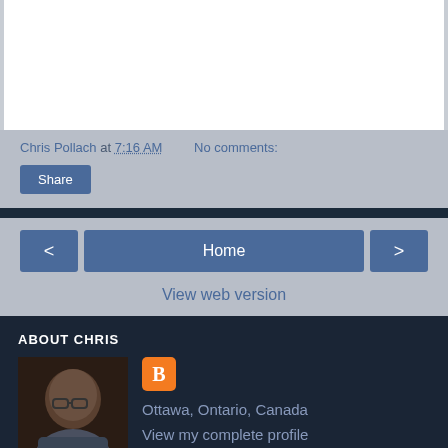Chris Pollach at 7:16 AM   No comments:
Share
< Home >
View web version
ABOUT CHRIS
[Figure (photo): Profile photo of Chris Pollach, an older man with glasses]
Ottawa, Ontario, Canada
View my complete profile
Powered by Blogger.